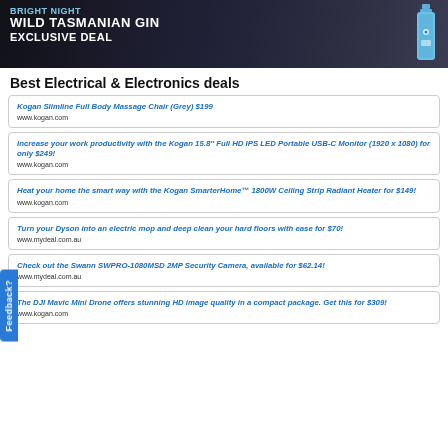[Figure (photo): Banner advertisement for Bright Night Wild Tasmanian Gin Exclusive Deal with dark rocky background and a blue gin bottle]
Best Electrical & Electronics deals
Kogan Slimline Full Body Massage Chair (Grey) $199 — www.kogan.com
Increase your work productivity with the Kogan 15.8" Full HD IPS LED Portable USB-C Monitor (1920 x 1080) for only $249! — www.kogan.com
Heat your home the smart way with the Kogan SmarterHome™ 1800W Ceiling Strip Radiant Heater for $149! — www.kogan.com
Turn your Dyson into an electric mop and deep clean your hard floors with ease for $70! — www.mydeal.com.au
Check out the Swann SWPRO-1080MSD 2MP Security Camera, available for $62.14! — www.mydeal.com.au
The DJI Mavic Mini Drone offers stunning HD image quality in a compact package. Get this for $309! — www.kogan.com